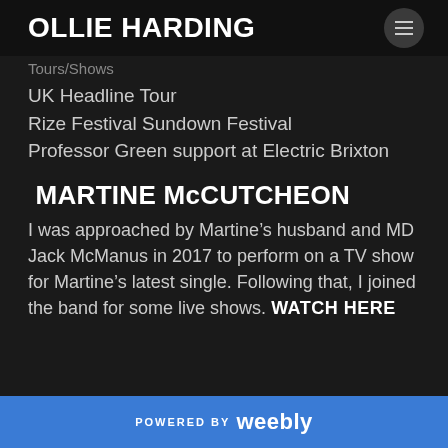OLLIE HARDING
Tours/Shows
UK Headline Tour
Rize Festival  Sundown Festival
Professor Green support at Electric Brixton
MARTINE McCUTCHEON
I was approached by Martine’s husband and MD Jack McManus in 2017 to perform on a TV show for Martine’s latest single. Following that, I joined the band for some live shows. WATCH HERE
POWERED BY weebly